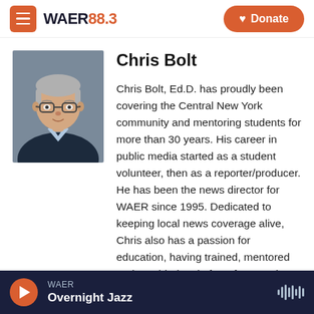WAER 88.3 | Donate
[Figure (photo): Headshot portrait of Chris Bolt, an older man with glasses, grey hair, wearing a dark blazer and light blue shirt, against a neutral grey background.]
Chris Bolt
Chris Bolt, Ed.D. has proudly been covering the Central New York community and mentoring students for more than 30 years. His career in public media started as a student volunteer, then as a reporter/producer. He has been the news director for WAER since 1995. Dedicated to keeping local news coverage alive, Chris also has a passion for education, having trained, mentored and provided a platform for growth to more than a
WAER | Overnight Jazz